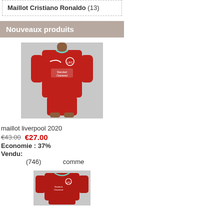Maillot Cristiano Ronaldo (13)
Nouveaux produits
[Figure (photo): Product photo of a Liverpool FC 2020 red jersey worn by a model, showing Standard Chartered sponsor and Nike swoosh]
maillot liverpool 2020
€43.00   €27.00
Economie : 37%
Vendu:
(746)                        comme
[Figure (photo): Thumbnail product photo of a Liverpool FC red jersey and shorts set laid flat, showing Standard Chartered sponsor]